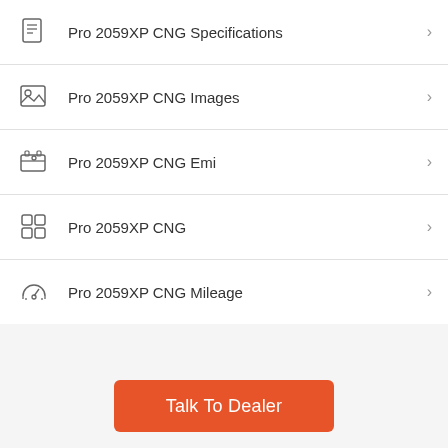Pro 2059XP CNG Specifications
Pro 2059XP CNG Images
Pro 2059XP CNG Emi
Pro 2059XP CNG
Pro 2059XP CNG Mileage
Talk To Dealer